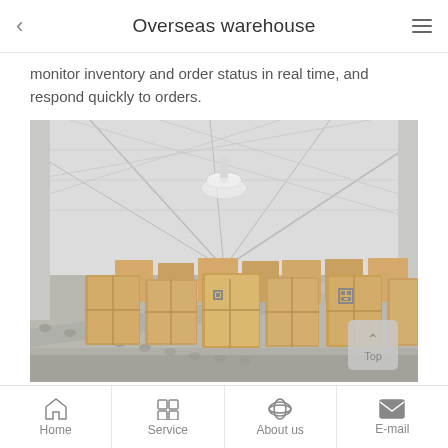Overseas warehouse
monitor inventory and order status in real time, and respond quickly to orders.
[Figure (photo): Interior of a large warehouse with conveyor belts carrying cardboard boxes with QR codes, showing a high ceiling with metal trusses and industrial lighting.]
Home | Service | About us | E-mail